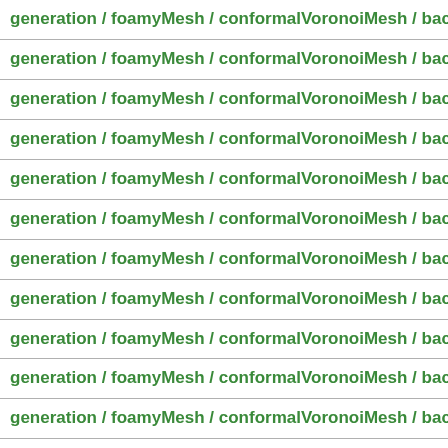generation / foamyMesh / conformalVoronoiMesh / backgroundM…
generation / foamyMesh / conformalVoronoiMesh / backgroundM…
generation / foamyMesh / conformalVoronoiMesh / backgroundM…
generation / foamyMesh / conformalVoronoiMesh / backgroundM…
generation / foamyMesh / conformalVoronoiMesh / backgroundM…
generation / foamyMesh / conformalVoronoiMesh / backgroundM…
generation / foamyMesh / conformalVoronoiMesh / backgroundM…
generation / foamyMesh / conformalVoronoiMesh / backgroundM…
generation / foamyMesh / conformalVoronoiMesh / backgroundM…
generation / foamyMesh / conformalVoronoiMesh / backgroundM…
generation / foamyMesh / conformalVoronoiMesh / backgroundM…
generation / foamyMesh / conformalVoronoiMesh / backgroundM…
generation / foamyMesh / conformalVoronoiMesh / backgroundM…
generation / foamyMesh / conformalVoronoiMesh / backgroundM…